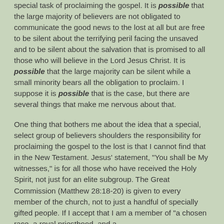special task of proclaiming the gospel. It is possible that the large majority of believers are not obligated to communicate the good news to the lost at all but are free to be silent about the terrifying peril facing the unsaved and to be silent about the salvation that is promised to all those who will believe in the Lord Jesus Christ. It is possible that the large majority can be silent while a small minority bears all the obligation to proclaim. I suppose it is possible that is the case, but there are several things that make me nervous about that.
One thing that bothers me about the idea that a special, select group of believers shoulders the responsibility for proclaiming the gospel to the lost is that I cannot find that in the New Testament. Jesus' statement, "You shall be My witnesses," is for all those who have received the Holy Spirit, not just for an elite subgroup. The Great Commission (Matthew 28:18-20) is given to every member of the church, not to just a handful of specially gifted people. If I accept that I am a member of "a chosen race, a royal priesthood, and a